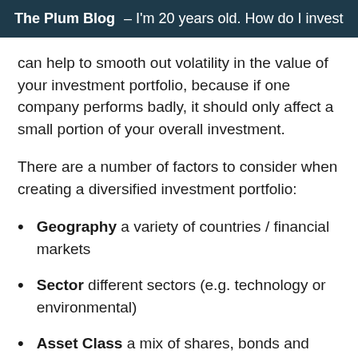The Plum Blog – I'm 20 years old. How do I invest
can help to smooth out volatility in the value of your investment portfolio, because if one company performs badly, it should only affect a small portion of your overall investment.
There are a number of factors to consider when creating a diversified investment portfolio:
Geography a variety of countries / financial markets
Sector different sectors (e.g. technology or environmental)
Asset Class a mix of shares, bonds and property etc.